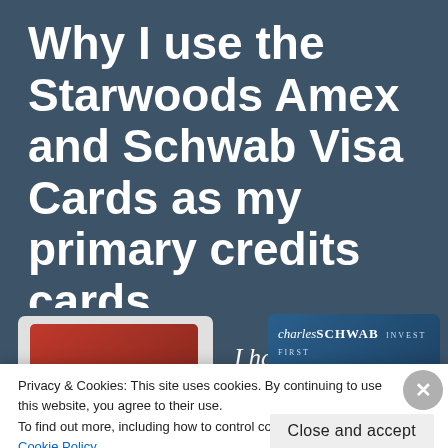Why I use the Starwoods Amex and Schwab Visa Cards as my primary credits cards
[Figure (photo): Partial view of a red credit card (Starwoods Amex) on the left, text 'I have' in italic white, and a Charles Schwab Bank Visa card on the right, all against a dark blue-grey background]
Privacy & Cookies: This site uses cookies. By continuing to use this website, you agree to their use.
To find out more, including how to control cookies, see here: Cookie Policy
Close and accept